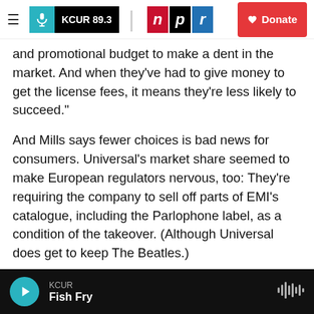KCUR 89.3 | npr | Donate
and promotional budget to make a dent in the market. And when they've had to give money to get the license fees, it means they're less likely to succeed."
And Mills says fewer choices is bad news for consumers. Universal's market share seemed to make European regulators nervous, too: They're requiring the company to sell off parts of EMI's catalogue, including the Parlophone label, as a condition of the takeover. (Although Universal does get to keep The Beatles.)
Universal CEO Lucian Grainge declined to be
KCUR | Fish Fry